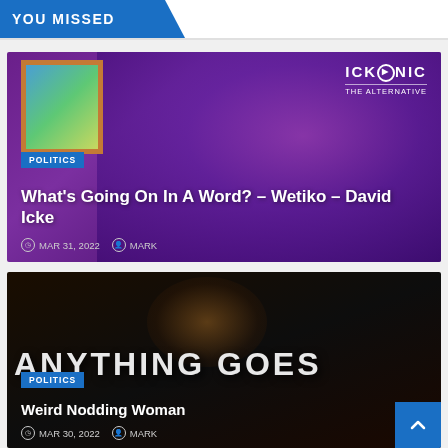YOU MISSED
[Figure (photo): Video thumbnail showing a man in white shirt against purple background with ICKONIC THE ALTERNATIVE logo, and a framed painting on left]
POLITICS
What's Going On In A Word? – Wetiko – David Icke
MAR 31, 2022   MARK
[Figure (photo): Dark video thumbnail with large 'ANYTHING GOES' text and a woman's face visible in background]
POLITICS
Weird Nodding Woman
MAR 30, 2022   MARK